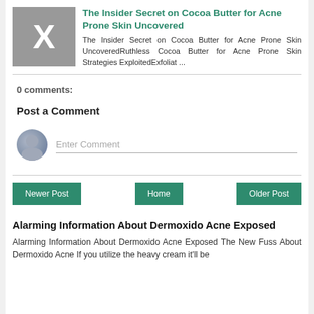[Figure (illustration): Gray square thumbnail with a white X letter placeholder image]
The Insider Secret on Cocoa Butter for Acne Prone Skin Uncovered
The Insider Secret on Cocoa Butter for Acne Prone Skin UncoveredRuthless Cocoa Butter for Acne Prone Skin Strategies ExploitedExfoliat ...
0 comments:
Post a Comment
[Figure (illustration): Gray avatar/user icon circle for comment section]
Enter Comment
Newer Post
Home
Older Post
Alarming Information About Dermoxido Acne Exposed
Alarming Information About Dermoxido Acne Exposed The New Fuss About Dermoxido Acne If you utilize the heavy cream it'll be